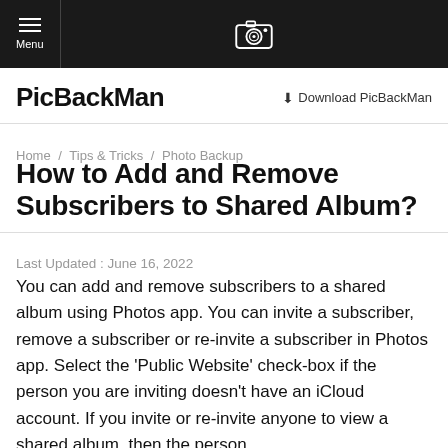Menu | PicBackMan
PicBackMan
Download PicBackMan
Home / Tips & Tricks / Photo Backup
How to Add and Remove Subscribers to Shared Album?
Last Updated : June 16, 2022
You can add and remove subscribers to a shared album using Photos app. You can invite a subscriber, remove a subscriber or re-invite a subscriber in Photos app. Select the 'Public Website' check-box if the person you are inviting doesn't have an iCloud account. If you invite or re-invite anyone to view a shared album, then the person